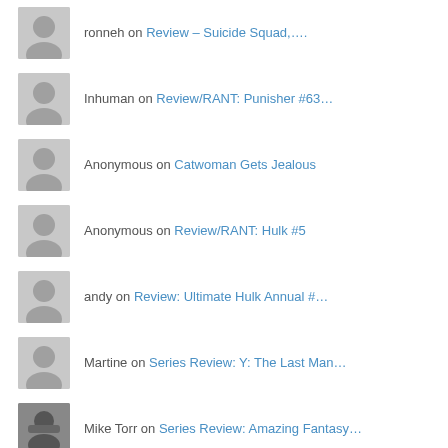ronneh on Review – Suicide Squad,….
Inhuman on Review/RANT: Punisher #63….
Anonymous on Catwoman Gets Jealous
Anonymous on Review/RANT: Hulk #5
andy on Review: Ultimate Hulk Annual #…
Martine on Series Review: Y: The Last Man…
Mike Torr on Series Review: Amazing Fantasy…
xxadverbxx on Spoiler Review: Captain Americ…
Top Posts
Starfire in Red Hood and the Outlaws #1
Bruce Castle Presents: Conan vs. Punisher!